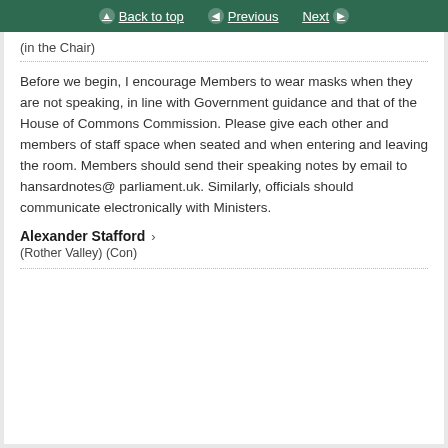Back to top | Previous | Next
(in the Chair)
Before we begin, I encourage Members to wear masks when they are not speaking, in line with Government guidance and that of the House of Commons Commission. Please give each other and members of staff space when seated and when entering and leaving the room. Members should send their speaking notes by email to hansardnotes@ parliament.uk. Similarly, officials should communicate electronically with Ministers.
Alexander Stafford
(Rother Valley) (Con)